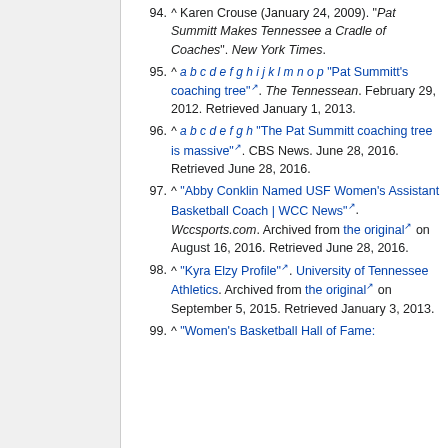94. ^ Karen Crouse (January 24, 2009). "Pat Summitt Makes Tennessee a Cradle of Coaches". New York Times.
95. ^ a b c d e f g h i j k l m n o p "Pat Summitt's coaching tree". The Tennessean. February 29, 2012. Retrieved January 1, 2013.
96. ^ a b c d e f g h "The Pat Summitt coaching tree is massive". CBS News. June 28, 2016. Retrieved June 28, 2016.
97. ^ "Abby Conklin Named USF Women's Assistant Basketball Coach | WCC News". Wccsports.com. Archived from the original on August 16, 2016. Retrieved June 28, 2016.
98. ^ "Kyra Elzy Profile". University of Tennessee Athletics. Archived from the original on September 5, 2015. Retrieved January 3, 2013.
99. ^ "Women's Basketball Hall of Fame: